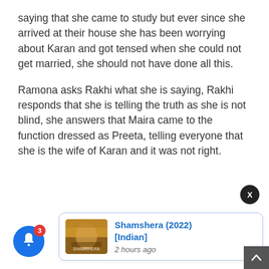saying that she came to study but ever since she arrived at their house she has been worrying about Karan and got tensed when she could not get married, she should not have done all this.
Ramona asks Rakhi what she is saying, Rakhi responds that she is telling the truth as she is not blind, she answers that Maira came to the function dressed as Preeta, telling everyone that she is the wife of Karan and it was not right.
[Figure (screenshot): A notification popup showing Shamshera (2022) [Indian] movie, with a thumbnail image, blue close X button, a bell notification button with badge 3, and a scroll-to-top button.]